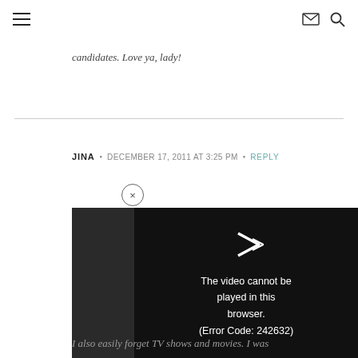Navigation header with hamburger menu, mail icon, and search icon
candidates. Love ya, lady!
JINA · DECEMBER 17, 2011 AT 3:25 PM · REPLY
I'm super co… sounds SO fu…
I love pop (I'… soda). My fav… to have it at…
[Figure (screenshot): Video player showing error: The video cannot be played in this browser. (Error Code: 242632), with a close button (×) above it]
I also easily forget TV shows and movies. I was